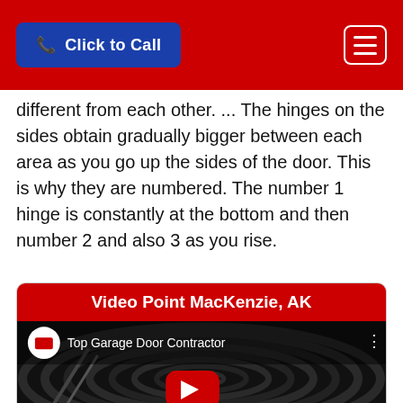Click to Call
different from each other. ... The hinges on the sides obtain gradually bigger between each area as you go up the sides of the door. This is why they are numbered. The number 1 hinge is constantly at the bottom and then number 2 and also 3 as you rise.
Video Point MacKenzie, AK
[Figure (screenshot): YouTube video thumbnail showing a coiled garage door spring with title 'Top Garage Door Contractor' and a red play button overlay.]